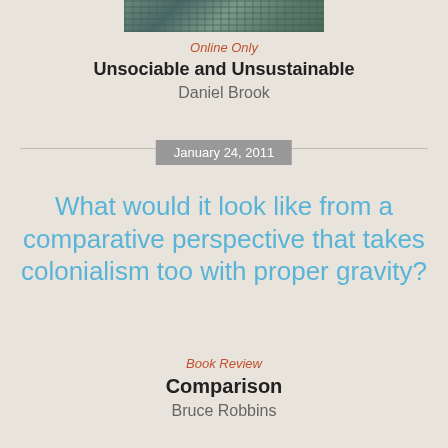[Figure (photo): Aerial photograph of a city/urban area, cropped strip at top of page]
Online Only
Unsociable and Unsustainable
Daniel Brook
January 24, 2011
What would it look like from a comparative perspective that takes colonialism too with proper gravity?
Book Review
Comparison
Bruce Robbins